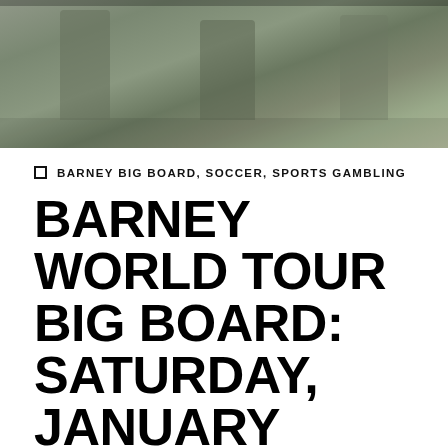[Figure (photo): Partial photograph showing people standing outdoors, cropped at top of page]
BARNEY BIG BOARD, SOCCER, SPORTS GAMBLING
BARNEY WORLD TOUR BIG BOARD: SATURDAY, JANUARY 30TH
by Barnes   No Comments
Not discussing Thursday's 0-2 board. The History Channel might do a segment about it, but I will not